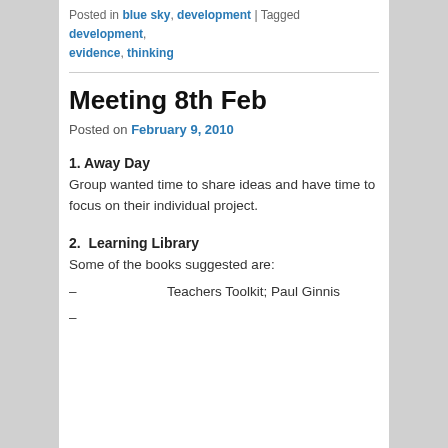Posted in blue sky, development | Tagged development, evidence, thinking
Meeting 8th Feb
Posted on February 9, 2010
1. Away Day
Group wanted time to share ideas and have time to focus on their individual project.
2.  Learning Library
Some of the books suggested are:
– Teachers Toolkit; Paul Ginnis
– ...